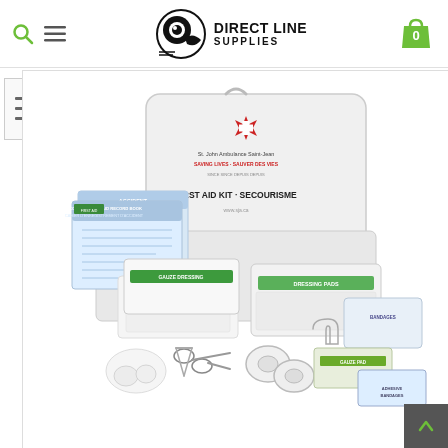[Figure (logo): Direct Line Supplies logo with circular icon and text]
[Figure (photo): St. John Ambulance First Aid Kit - Secourisme opened showing contents including bandages, gauze, scissors, tape, and other first aid supplies in a white plastic case]
[Figure (screenshot): Thumbnail navigation panel on left side showing filter/settings icon lines]